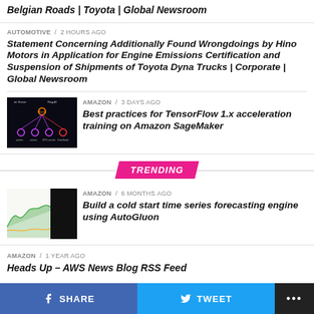Belgian Roads | Toyota | Global Newsroom
AUTOMOTIVE / 2 hours ago
Statement Concerning Additionally Found Wrongdoings by Hino Motors in Application for Engine Emissions Certification and Suspension of Shipments of Toyota Dyna Trucks | Corporate | Global Newsroom
[Figure (screenshot): Dark background image showing server/worker architecture with GPU workers connected by colored lines]
AMAZON / 3 days ago
Best practices for TensorFlow 1.x acceleration training on Amazon SageMaker
TRENDING
[Figure (screenshot): Green area chart with a dark vertical bar overlay on a light background, showing time series data]
AMAZON / 6 months ago
Build a cold start time series forecasting engine using AutoGluon
AMAZON / 1 year ago
Heads Up – AWS News Blog RSS Feed
SHARE   TWEET   ...